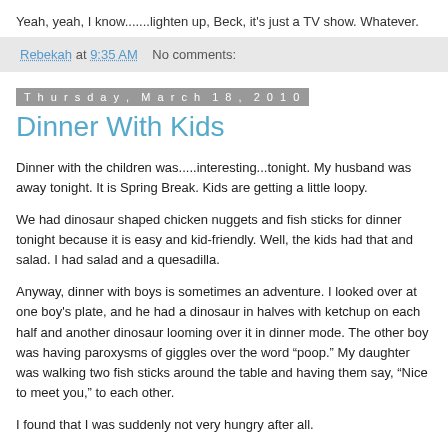Yeah, yeah, I know.......lighten up, Beck, it's just a TV show. Whatever.
Rebekah at 9:35 AM   No comments:
Thursday, March 18, 2010
Dinner With Kids
Dinner with the children was.....interesting...tonight. My husband was away tonight. It is Spring Break. Kids are getting a little loopy.
We had dinosaur shaped chicken nuggets and fish sticks for dinner tonight because it is easy and kid-friendly. Well, the kids had that and salad. I had salad and a quesadilla.
Anyway, dinner with boys is sometimes an adventure. I looked over at one boy's plate, and he had a dinosaur in halves with ketchup on each half and another dinosaur looming over it in dinner mode. The other boy was having paroxysms of giggles over the word “poop.” My daughter was walking two fish sticks around the table and having them say, “Nice to meet you,” to each other.
I found that I was suddenly not very hungry after all.
Obviously the parental job of civilizing these kiddos needs some more attention.
Can they go to bed now?